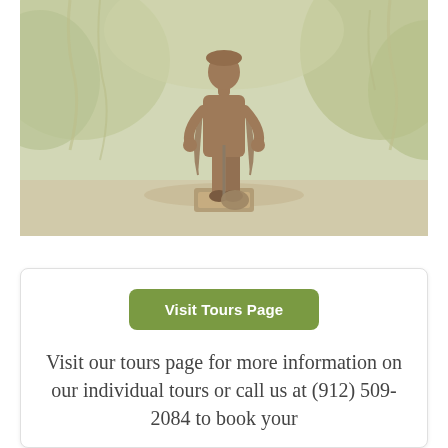[Figure (photo): A bronze statue of a historical figure viewed from behind, standing in a wooded park setting with Spanish moss-draped trees. The statue depicts a man in colonial-era clothing.]
Visit Tours Page
Visit our tours page for more information on our individual tours or call us at (912) 509-2084 to book your